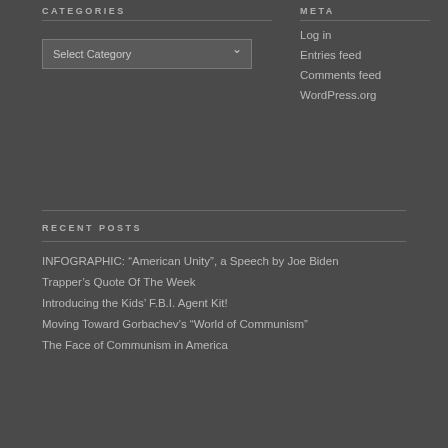CATEGORIES
[Figure (screenshot): A dropdown selector with 'Select Category' placeholder text]
META
Log in
Entries feed
Comments feed
WordPress.org
RECENT POSTS
INFOGRAPHIC: “American Unity”, a Speech by Joe Biden
Trapper’s Quote Of The Week
Introducing the Kids’ F.B.I. Agent Kit!
Moving Toward Gorbachev’s “World of Communism”
The Face of Communism in America